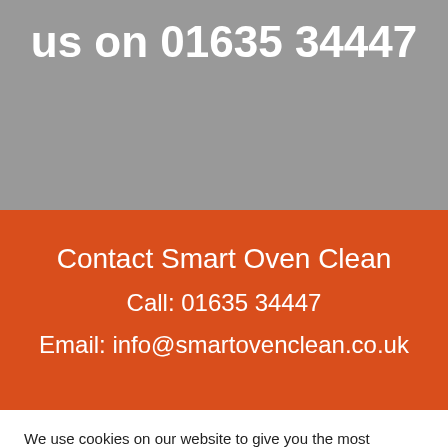us on 01635 34447
Contact Smart Oven Clean
Call: 01635 34447
Email: info@smartovenclean.co.uk
We use cookies on our website to give you the most relevant experience by remembering your preferences and repeat visits. By clicking "Accept All", you consent to the use of ALL the cookies. However, you may visit "Cookie Settings" to provide a controlled consent.
Cookie Settings | Accept All